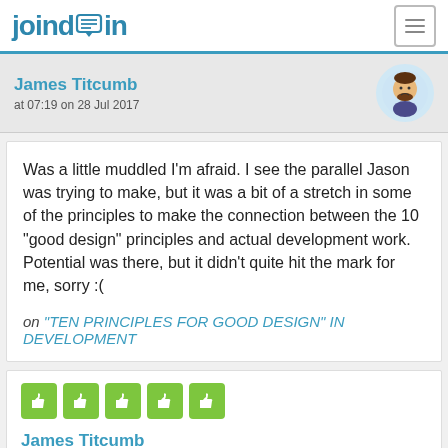joind.in
James Titcumb
at 07:19 on 28 Jul 2017
Was a little muddled I'm afraid. I see the parallel Jason was trying to make, but it was a bit of a stretch in some of the principles to make the connection between the 10 "good design" principles and actual development work. Potential was there, but it didn't quite hit the mark for me, sorry :(

on "TEN PRINCIPLES FOR GOOD DESIGN" IN DEVELOPMENT
[Figure (illustration): Five green thumbs-up icon buttons in a row]
James Titcumb